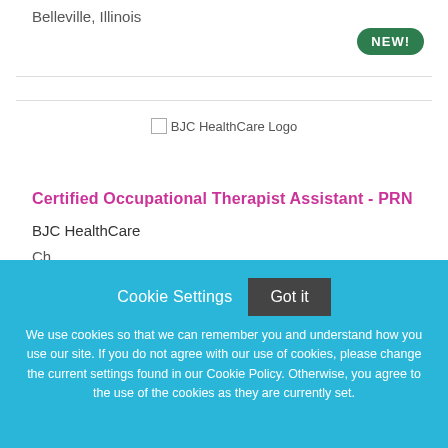Belleville, Illinois
[Figure (logo): BJC HealthCare Logo placeholder image]
Certified Occupational Therapist Assistant - PRN
BJC HealthCare
Cookie Settings   Got it
We use cookies so that we can remember you and understand how you use our site. If you do not agree with our use of cookies, please change the current settings found in our Cookie Policy. Otherwise, you agree to the use of the cookies as they are currently set.